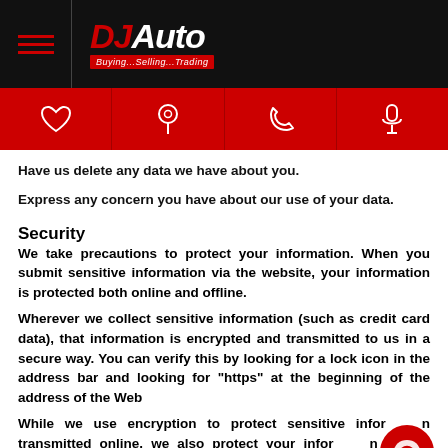DJ Auto — Buying...Selling...Trading
Have us delete any data we have about you.
Express any concern you have about our use of your data.
Security
We take precautions to protect your information. When you submit sensitive information via the website, your information is protected both online and offline.
Wherever we collect sensitive information (such as credit card data), that information is encrypted and transmitted to us in a secure way. You can verify this by looking for a lock icon in the address bar and looking for "https" at the beginning of the address of the Web...
While we use encryption to protect sensitive information transmitted online, we also protect your information offline. Only employees who need the information to